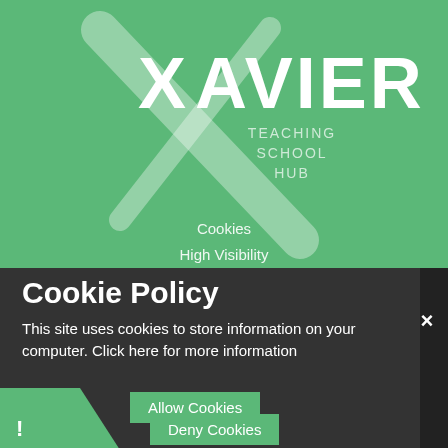[Figure (logo): Xavier Teaching School Hub logo — stylized X in lighter green on green background with XAVIER text and TEACHING SCHOOL HUB subtitle]
Cookies
High Visibility
Cookie Policy
This site uses cookies to store information on your computer. Click here for more information
Allow Cookies
Deny Cookies